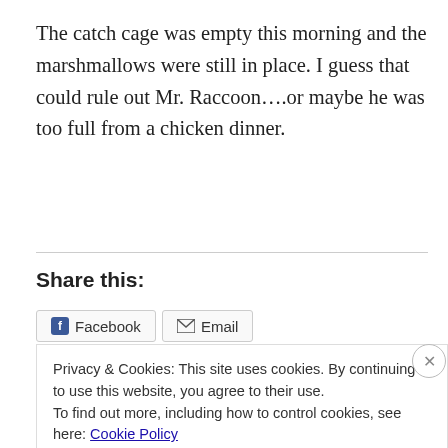The catch cage was empty this morning and the marshmallows were still in place. I guess that could rule out Mr. Raccoon….or maybe he was too full from a chicken dinner.
Share this:
Facebook  Email
Privacy & Cookies: This site uses cookies. By continuing to use this website, you agree to their use.
To find out more, including how to control cookies, see here: Cookie Policy
Close and accept